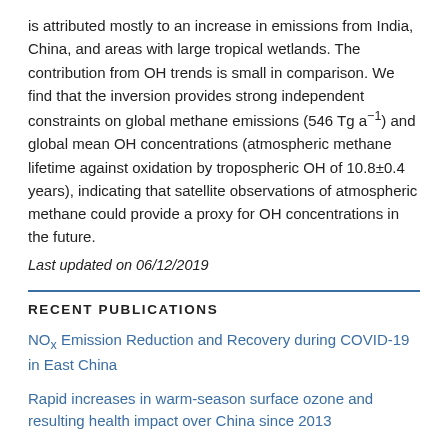is attributed mostly to an increase in emissions from India, China, and areas with large tropical wetlands. The contribution from OH trends is small in comparison. We find that the inversion provides strong independent constraints on global methane emissions (546 Tg a⁻¹) and global mean OH concentrations (atmospheric methane lifetime against oxidation by tropospheric OH of 10.8±0.4 years), indicating that satellite observations of atmospheric methane could provide a proxy for OH concentrations in the future.
Last updated on 06/12/2019
RECENT PUBLICATIONS
NOx Emission Reduction and Recovery during COVID-19 in East China
Rapid increases in warm-season surface ozone and resulting health impact over China since 2013
Ozone Pollution over China and India: Seasonality and Sources